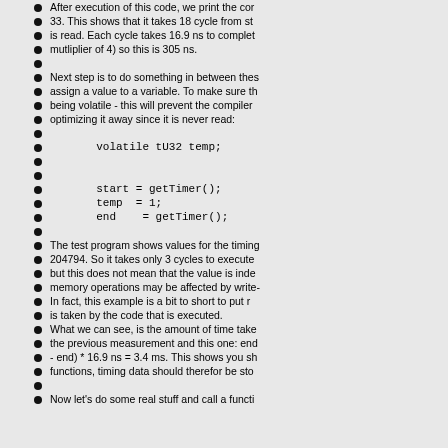After execution of this code, we print the cor
33. This shows that it takes 18 cycle from st
is read. Each cycle takes 16.9 ns to complet
mutliplier of 4) so this is 305 ns.
Next step is to do something in between thes
assign a value to a variable. To make sure th
being volatile - this will prevent the compiler
optimizing it away since it is never read:
volatile tU32 temp;
start = getTimer();
temp  = 1;
end   = getTimer();
The test program shows values for the timing
204794. So it takes only 3 cycles to execute
but this does not mean that the value is inde
memory operations may be affected by write-
In fact, this example is a bit to short to put r
is taken by the code that is executed.
What we can see, is the amount of time take
the previous measurement and this one: end
- end) * 16.9 ns = 3.4 ms. This shows you sh
functions, timing data should therefor be sto
Now let's do some real stuff and call a functi